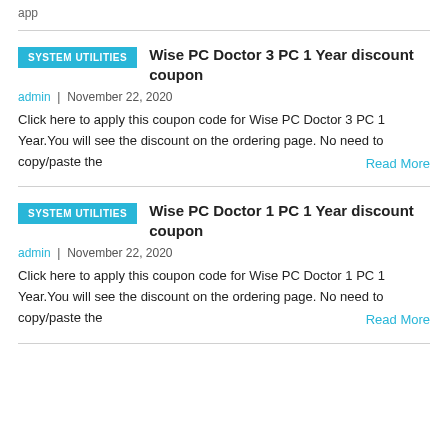app
Wise PC Doctor 3 PC 1 Year discount coupon
admin | November 22, 2020
Click here to apply this coupon code for Wise PC Doctor 3 PC 1 Year.You will see the discount on the ordering page. No need to copy/paste the
Read More
Wise PC Doctor 1 PC 1 Year discount coupon
admin | November 22, 2020
Click here to apply this coupon code for Wise PC Doctor 1 PC 1 Year.You will see the discount on the ordering page. No need to copy/paste the
Read More